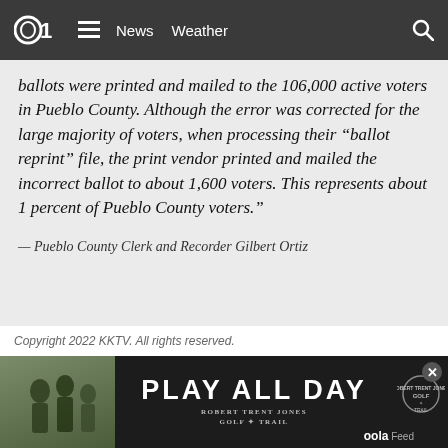d1  ≡  News  Weather  🔍
ballots were printed and mailed to the 106,000 active voters in Pueblo County. Although the error was corrected for the large majority of voters, when processing their “ballot reprint” file, the print vendor printed and mailed the incorrect ballot to about 1,600 voters. This represents about 1 percent of Pueblo County voters.”
— Pueblo County Clerk and Recorder Gilbert Ortiz
Copyright 2022 KKTV. All rights reserved.
[Figure (photo): Advertisement banner: Play All Day - Robert Trent Jones Golf Trail, with people in background image and oola Feed branding]